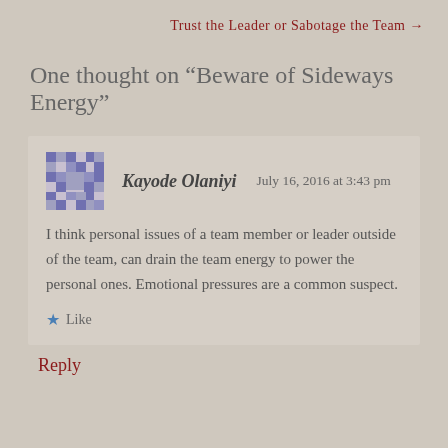Trust the Leader or Sabotage the Team →
One thought on “Beware of Sideways Energy”
Kayode Olaniyi   July 16, 2016 at 3:43 pm
I think personal issues of a team member or leader outside of the team, can drain the team energy to power the personal ones. Emotional pressures are a common suspect.
★ Like
Reply